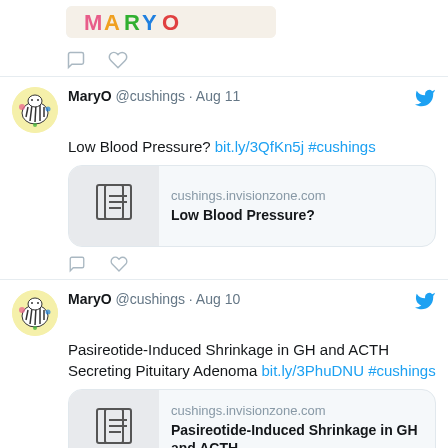[Figure (screenshot): Partial top tweet showing MARYO image/banner and action icons (comment, heart)]
MaryO @cushings · Aug 11
Low Blood Pressure? bit.ly/3QfKn5j #cushings
[Figure (screenshot): Link preview card: cushings.invisionzone.com — Low Blood Pressure?]
MaryO @cushings · Aug 10
Pasireotide-Induced Shrinkage in GH and ACTH Secreting Pituitary Adenoma bit.ly/3PhuDNU #cushings
[Figure (screenshot): Link preview card: cushings.invisionzone.com — Pasireotide-Induced Shrinkage in GH and ACTH ...]